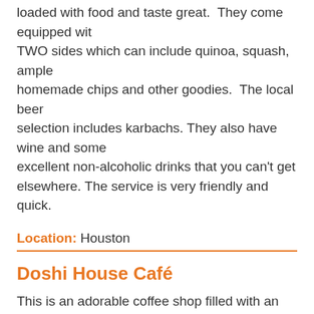loaded with food and taste great. They come equipped with TWO sides which can include quinoa, squash, ample homemade chips and other goodies. The local beer selection includes karbachs. They also have wine and some excellent non-alcoholic drinks that you can't get elsewhere. The service is very friendly and quick.
Location: Houston
Doshi House Café
This is an adorable coffee shop filled with an eclectic selection of vintage furniture and decor. The atmosphere is low-key and calm. Great vegan food options, and a welcoming environment. The atmosphere inside is chill and well lit up with sunshine and gives a relaxing feeling with vintage settings and furniture. MENU